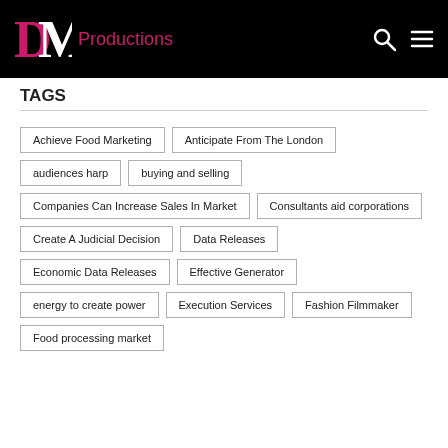DC Productions
TAGS
Achieve Food Marketing
Anticipate From The London
audiences harp
buying and selling
Companies Can Increase Sales In Market
Consultants aid corporations
Create A Judicial Decision
Data Releases
Economic Data Releases
Effective Generator
energy to create power
Execution Services
Fashion Filmmaker
Food processing market